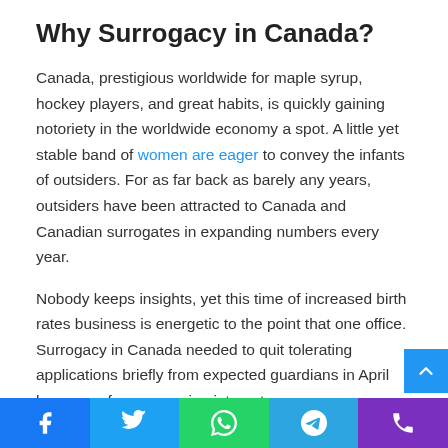Why Surrogacy in Canada?
Canada, prestigious worldwide for maple syrup, hockey players, and great habits, is quickly gaining notoriety in the worldwide economy a spot. A little yet stable band of women are eager to convey the infants of outsiders. For as far back as barely any years, outsiders have been attracted to Canada and Canadian surrogates in expanding numbers every year.
Nobody keeps insights, yet this time of increased birth rates business is energetic to the point that one office. Surrogacy in Canada needed to quit tolerating applications briefly from expected guardians in April because of overpowering interest.
An intersection of variables has prompted this interest,
Facebook Twitter WhatsApp Telegram Phone